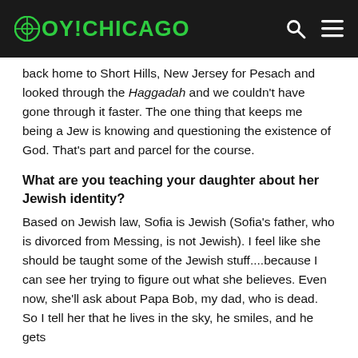OY!CHICAGO
back home to Short Hills, New Jersey for Pesach and looked through the Haggadah and we couldn't have gone through it faster. The one thing that keeps me being a Jew is knowing and questioning the existence of God. That's part and parcel for the course.
What are you teaching your daughter about her Jewish identity?
Based on Jewish law, Sofia is Jewish (Sofia's father, who is divorced from Messing, is not Jewish). I feel like she should be taught some of the Jewish stuff....because I can see her trying to figure out what she believes. Even now, she'll ask about Papa Bob, my dad, who is dead. So I tell her that he lives in the sky, he smiles, and he gets